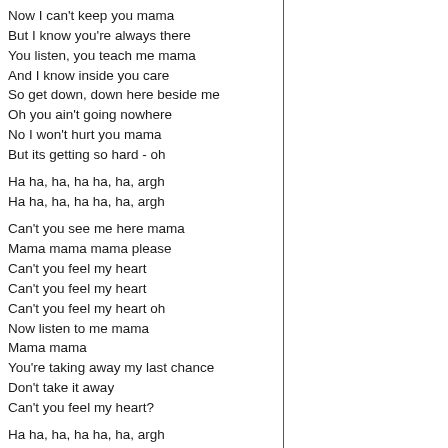Now I can't keep you mama
But I know you're always there
You listen, you teach me mama
And I know inside you care
So get down, down here beside me
Oh you ain't going nowhere
No I won't hurt you mama
But its getting so hard - oh

Ha ha, ha, ha ha, ha, argh
Ha ha, ha, ha ha, ha, argh

Can't you see me here mama
Mama mama mama please
Can't you feel my heart
Can't you feel my heart
Can't you feel my heart oh
Now listen to me mama
Mama mama
You're taking away my last chance
Don't take it away
Can't you feel my heart?

Ha ha, ha, ha ha, ha, argh

It's hot, too hot for me mama
But I can hardly wait
My eyes they're burning mama